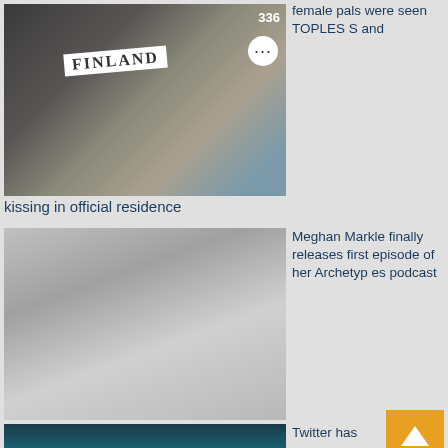[Figure (photo): Photo of two people kissing with a FINLAND sign, TikTok-style interface with 336 count and dots button]
female pals were seen TOPLESS and kissing in official residence
[Figure (photo): Black and white portrait photo of Meghan Markle]
Meghan Markle finally releases first episode of her Archetypes podcast
[Figure (photo): Photo of a man in a suit in a teal-tiled bathroom setting]
Twitter has some 'enc ies' that